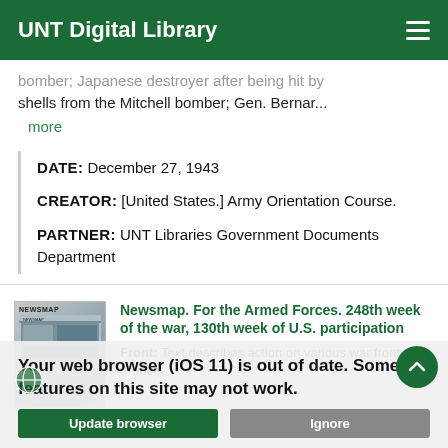UNT Digital Library
bomber; Japanese destroyer after being hit by shells from the Mitchell bomber; Gen. Bernar...
more
DATE: December 27, 1943
CREATOR: [United States.] Army Orientation Course.
PARTNER: UNT Libraries Government Documents Department
[Figure (screenshot): Thumbnail image of a Newsmap document showing a map layout]
Newsmap. For the Armed Forces. 248th week of the war, 130th week of U.S. participation
Front: Text describes action on various war fronts: France,
Your web browser (iOS 11) is out of date. Some features on this site may not work.